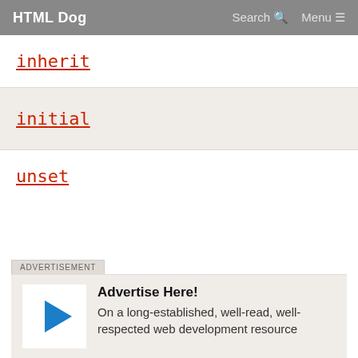HTML Dog  Search  Menu
inherit
initial
unset
ADVERTISEMENT
[Figure (illustration): Advertisement box with a play button triangle icon, headline 'Advertise Here!' and text 'On a long-established, well-read, well-respected web development resource']